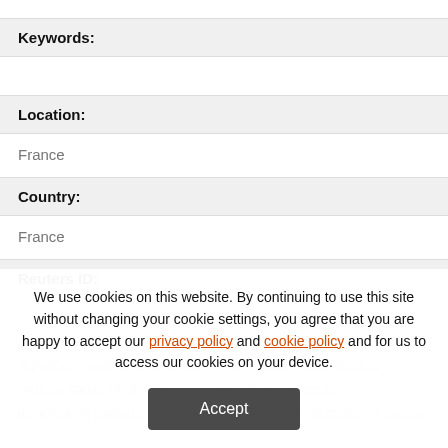Keywords:
Location:
France
Country:
France
Reuters ID:
We use cookies on this website. By continuing to use this site without changing your cookie settings, you agree that you are happy to accept our privacy policy and cookie policy and for us to access our cookies on your device.
Accept